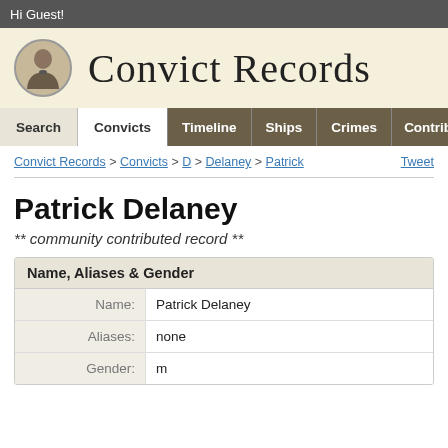Hi Guest!
[Figure (logo): Convict Records website header with oval portrait photo of a man in 19th century attire and large serif text 'Convict Records']
Search | Convicts | Timeline | Ships | Crimes | Contribut...
Convict Records > Convicts > D > Delaney > Patrick
Patrick Delaney
** community contributed record **
Name, Aliases & Gender
| Field | Value |
| --- | --- |
| Name: | Patrick Delaney |
| Aliases: | none |
| Gender: | m |